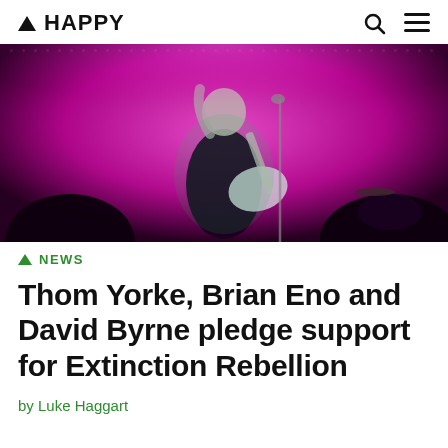▲ HAPPY
[Figure (photo): A performer on stage playing guitar in front of a bright pink/magenta LED backdrop, wearing a dark leather jacket, singing into a microphone. The image is predominantly pink and dark with dramatic lighting.]
▲ NEWS
Thom Yorke, Brian Eno and David Byrne pledge support for Extinction Rebellion
by Luke Haggart